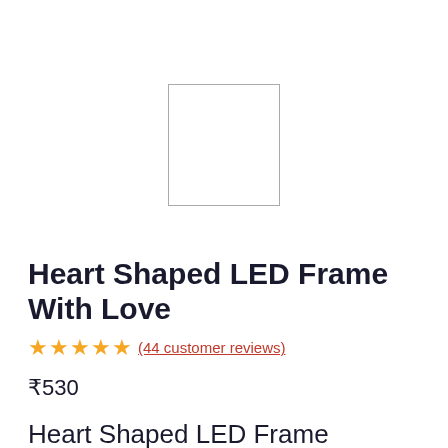[Figure (photo): Product image placeholder — white rectangle with thin border, representing Heart Shaped LED Frame With Love product]
Heart Shaped LED Frame With Love
★★★★½ (44 customer reviews)
₹530
Heart Shaped LED Frame